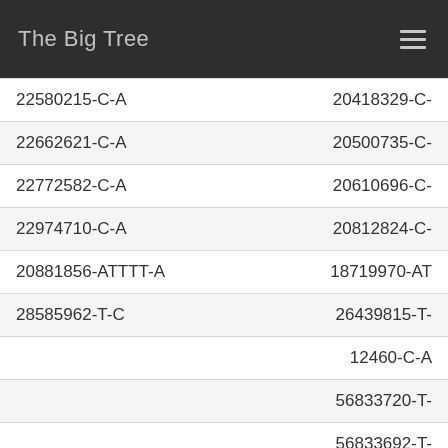The Big Tree
| Left | Right |
| --- | --- |
| 22580215-C-A | 20418329-C- |
| 22662621-C-A | 20500735-C- |
| 22772582-C-A | 20610696-C- |
| 22974710-C-A | 20812824-C- |
| 20881856-ATTTT-A | 18719970-AT |
| 28585962-T-C | 26439815-T- |
|  | 12460-C-A |
|  | 56833720-T- |
|  | 56833692-T- |
|  | 56832547-C- |